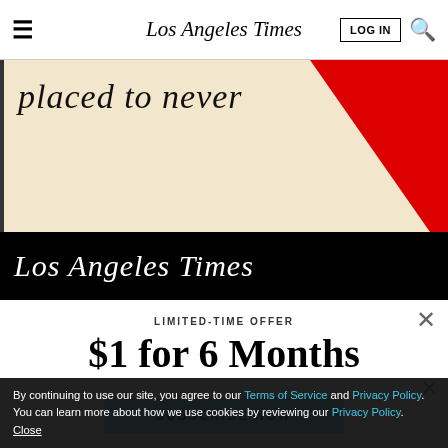Los Angeles Times
[Figure (illustration): Partial article image: beige/cream background with bold italic text partially visible ('placed to never') and a large diagonal red stripe in the upper right corner]
[Figure (illustration): Black banner with 'Los Angeles Times' logo in white italic serif font]
LIMITED-TIME OFFER
$1 for 6 Months
SUBSCRIBE NOW
[Figure (illustration): Partially visible dark advertisement at bottom with italic text and 'AT PARAMOUNT' text]
By continuing to use our site, you agree to our Terms of Service and Privacy Policy. You can learn more about how we use cookies by reviewing our Privacy Policy. Close